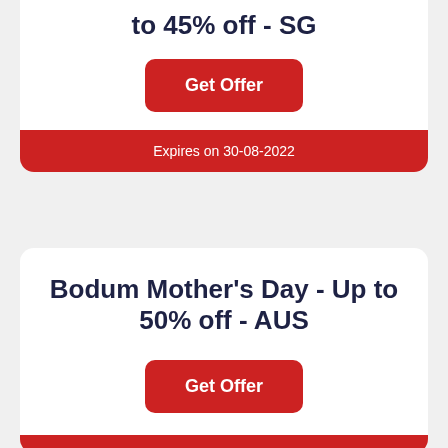to 45% off - SG
Get Offer
Expires on 30-08-2022
Bodum Mother's Day - Up to 50% off - AUS
Get Offer